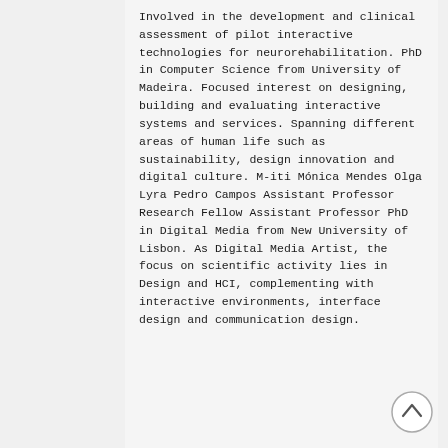Involved in the development and clinical assessment of pilot interactive technologies for neurorehabilitation. PhD in Computer Science from University of Madeira. Focused interest on designing, building and evaluating interactive systems and services. Spanning different areas of human life such as sustainability, design innovation and digital culture. M-iti
Mónica Mendes
Olga Lyra
Pedro Campos
Assistant Professor
Research Fellow
Assistant Professor
PhD in Digital Media from New University of Lisbon. As Digital Media Artist, the focus on scientific activity lies in Design and HCI, complementing with interactive environments, interface design and communication design.
[Figure (other): A circular scroll-up / back-to-top button with an upward chevron arrow, positioned at the bottom right corner of the page.]